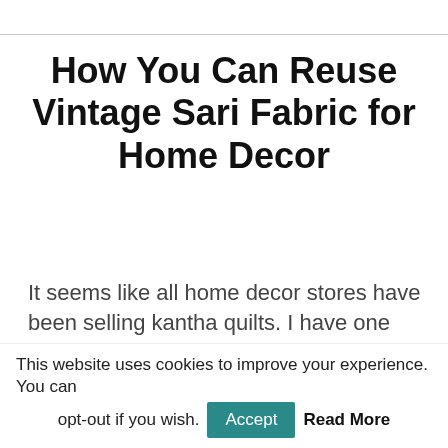How You Can Reuse Vintage Sari Fabric for Home Decor
It seems like all home decor stores have been selling kantha quilts. I have one too, for the India apartment's guest bedroom. But there's so much more you can do with sari fabric …
Vintage or new sari fabric can be used to
This website uses cookies to improve your experience. You can opt-out if you wish. Accept Read More